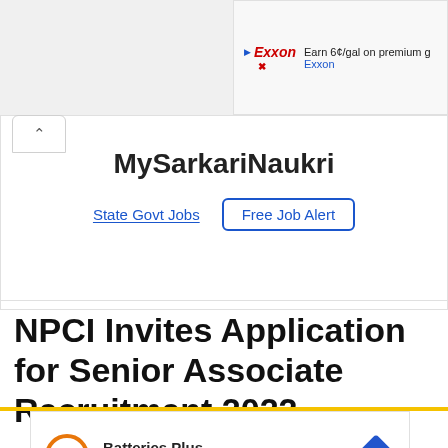[Figure (screenshot): Exxon advertisement banner showing 'Earn 6¢/gal on premium' text with Exxon logo]
MySarkariNaukri
State Govt Jobs   Free Job Alert
NPCI Invites Application for Senior Associate Recruitment 2022
[Figure (screenshot): Batteries Plus advertisement showing Batteries Plus Bulbs with orange circular logo and blue navigation arrow icon]